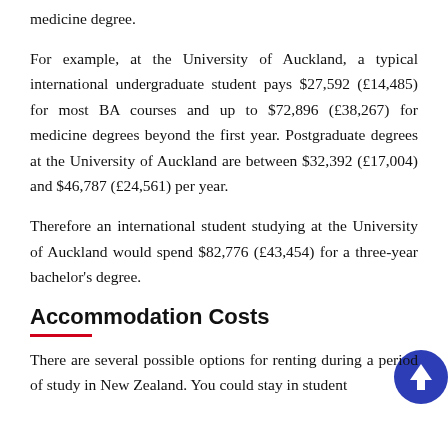medicine degree.
For example, at the University of Auckland, a typical international undergraduate student pays $27,592 (£14,485) for most BA courses and up to $72,896 (£38,267) for medicine degrees beyond the first year. Postgraduate degrees at the University of Auckland are between $32,392 (£17,004) and $46,787 (£24,561) per year.
Therefore an international student studying at the University of Auckland would spend $82,776 (£43,454) for a three-year bachelor's degree.
Accommodation Costs
There are several possible options for renting during a period of study in New Zealand. You could stay in student